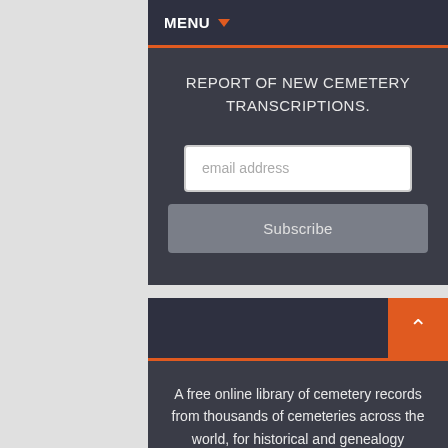MENU
REPORT OF NEW CEMETERY TRANSCRIPTIONS.
email address
Subscribe
A free online library of cemetery records from thousands of cemeteries across the world, for historical and genealogy research.